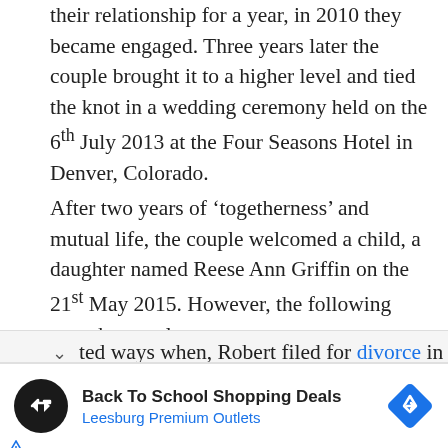their relationship for a year, in 2010 they became engaged. Three years later the couple brought it to a higher level and tied the knot in a wedding ceremony held on the 6th July 2013 at the Four Seasons Hotel in Denver, Colorado.
After two years of ‘togetherness’ and mutual life, the couple welcomed a child, a daughter named Reese Ann Griffin on the 21st May 2015. However, the following year the couple ted ways when, Robert filed for divorce in
[Figure (other): Advertisement banner: Back To School Shopping Deals - Leesburg Premium Outlets, with a black circular logo with double arrow, a blue diamond navigation icon, and small ad disclosure icons (triangle and X).]